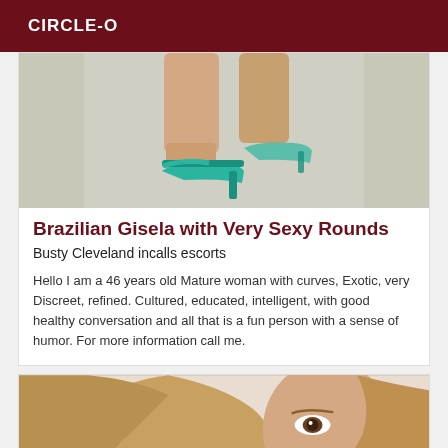CIRCLE-O
[Figure (photo): Cropped photo showing a woman's legs and feet wearing teal/turquoise high-heeled sandals against a light background]
Brazilian Gisela with Very Sexy Rounds
Busty Cleveland incalls escorts
Hello I am a 46 years old Mature woman with curves, Exotic, very Discreet, refined. Cultured, educated, intelligent, with good healthy conversation and all that is a fun person with a sense of humor. For more information call me.
[Figure (photo): Cropped photo of a woman with blonde/light brown hair, partial face visible showing one eye, taken in a bathroom or light interior setting]